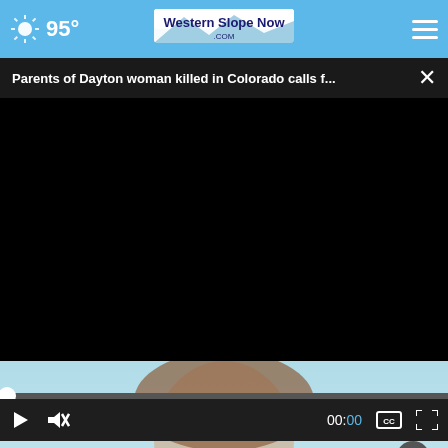95° Western Slope Now
Parents of Dayton woman killed in Colorado calls f...
[Figure (screenshot): Black video player area showing a paused or loading video with progress bar at 0:00 and playback controls including play button, mute button, time display (00:00), captions button, and fullscreen button]
[Figure (photo): Partial view of a smiling woman with brown hair against a light blue background, with a yellow advertisement overlay reading BUZZED AND DOING SOMETHING TO MAKE YOURSELF OKAY TO DRIVE?]